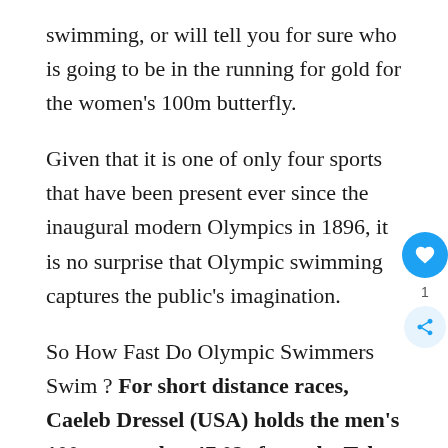swimming, or will tell you for sure who is going to be in the running for gold for the women's 100m butterfly.
Given that it is one of only four sports that have been present ever since the inaugural modern Olympics in 1896, it is no surprise that Olympic swimming captures the public's imagination.
So How Fast Do Olympic Swimmers Swim ? For short distance races, Caeleb Dressel (USA) holds the men's 100m record at 47.02s from the Tokyo 2020 games. Emma McKeon (Australia) holds the female record at